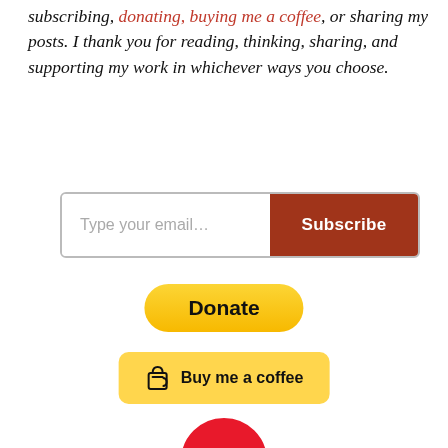subscribing, donating, buying me a coffee, or sharing my posts. I thank you for reading, thinking, sharing, and supporting my work in whichever ways you choose.
[Figure (screenshot): Email subscription bar with 'Type your email...' input field and dark red 'Subscribe' button]
[Figure (screenshot): Yellow PayPal Donate button with rounded pill shape]
[Figure (logo): Buy Me a Coffee yellow button with coffee cup icon and handwritten-style text]
[Figure (logo): Redbubble logo: red circle with white 'RB' letters]
[Figure (logo): Bio.Link logo: black rectangular border with 'BIO. LINK' text in bold]